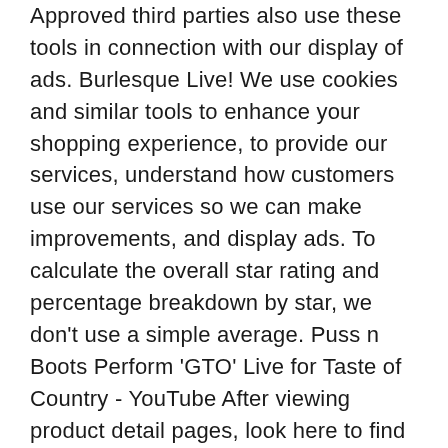Approved third parties also use these tools in connection with our display of ads. Burlesque Live! We use cookies and similar tools to enhance your shopping experience, to provide our services, understand how customers use our services so we can make improvements, and display ads. To calculate the overall star rating and percentage breakdown by star, we don't use a simple average. Puss n Boots Perform 'GTO' Live for Taste of Country - YouTube After viewing product detail pages, look here to find an easy way to navigate back to pages you are interested in. Your Amazon Music account is currently associated with a different marketplace. "The still must tease with the promise of a story the viewer of it itches to be told. Sorry, there was a problem saving your cookie preferences. To enjoy Prime Music, go to Your Music Library and transfer your account to Amazon.co.uk (UK). It also analyses reviews to verify trustworthiness. Try again. Check out Puss 'N' Boots (Live) by New York Dolls on Amazon Music. Instead, our system considers things like how recent a review is and if the reviewer bought the item on Amazon. The Return of the